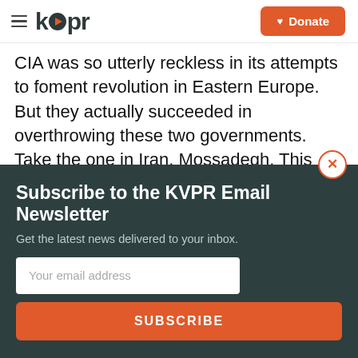kvpr | Donate
CIA was so utterly reckless in its attempts to foment revolution in Eastern Europe. But they actually succeeded in overthrowing these two governments. Take the one in Iran, Mossadegh. This was the Shah of Iran. I mean, the traditional imperial ruler was a factor here. Tell us exactly what happened. And how did the CIA affect this change?
Subscribe to the KVPR Email Newsletter
Get the latest news delivered to your inbox.
Your email address
SUBSCRIBE